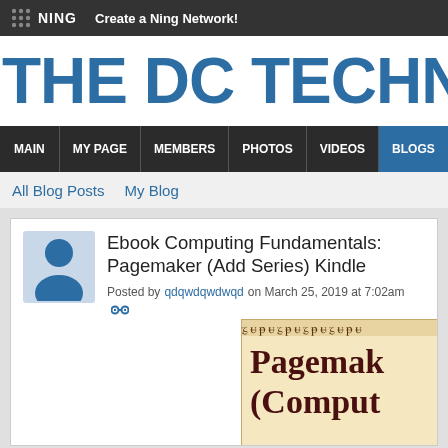NING  Create a Ning Network!
THE DC TECHNOLO
MAIN  MY PAGE  MEMBERS  PHOTOS  VIDEOS  BLOGS
All Blog Posts  My Blog
Ebook Computing Fundamentals: Pagemaker (Add Series) Kindle
Posted by qdqwdqwdwqd on March 25, 2019 at 7:02am
[Figure (illustration): Book cover preview showing 'Pagemaker (Comput' text on a tan/beige background with decorative border]